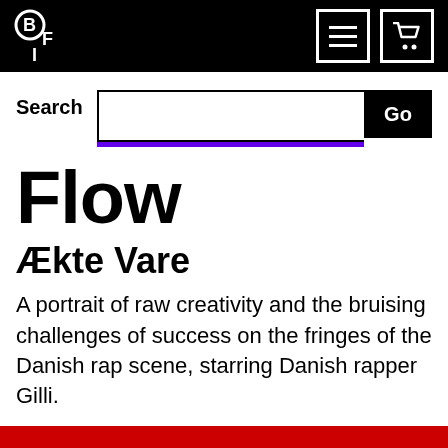BFI
Search
Flow
Ækte Vare
A portrait of raw creativity and the bruising challenges of success on the fringes of the Danish rap scene, starring Danish rapper Gilli.
[Figure (photo): Red-toned image strip at the bottom of the page]